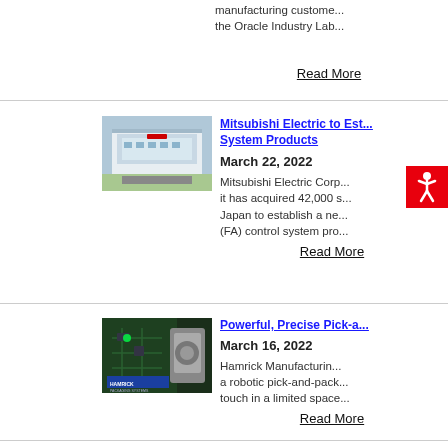manufacturing customers at the Oracle Industry Lab
Read More
[Figure (photo): Mitsubishi Electric building exterior, industrial facility]
Mitsubishi Electric to Est... System Products
March 22, 2022
Mitsubishi Electric Corp... it has acquired 42,000 s... Japan to establish a ne... (FA) control system pro...
Read More
[Figure (photo): Hamrick Manufacturing packaging systems with robotic components]
Powerful, Precise Pick-a...
March 16, 2022
Hamrick Manufacturing... a robotic pick-and-pack... touch in a limited space...
Read More
[Figure (photo): Mitsubishi Electric Automation products on red background]
Mitsubishi Electric Autom...
January 26, 2022
Mitsubishi Electric Auto...